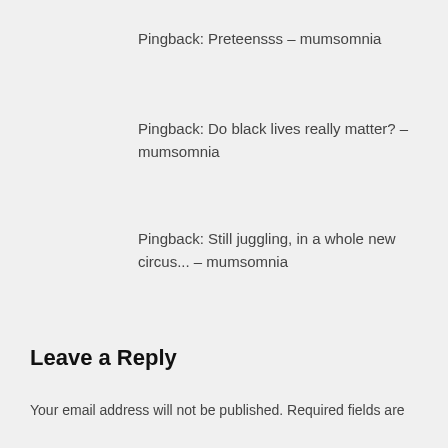Pingback: Preteensss – mumsomnia
Pingback: Do black lives really matter? – mumsomnia
Pingback: Still juggling, in a whole new circus... – mumsomnia
Leave a Reply
Your email address will not be published. Required fields are